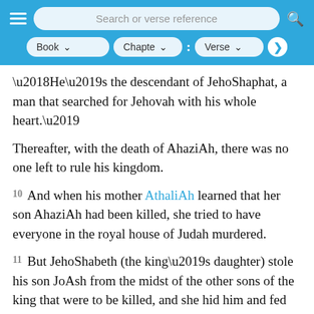Search or verse reference — Book / Chapter / Verse navigation
‘He’s the descendant of JehoShaphat, a man that searched for Jehovah with his whole heart.’
Thereafter, with the death of AhaziAh, there was no one left to rule his kingdom.
10 And when his mother AthaliAh learned that her son AhaziAh had been killed, she tried to have everyone in the royal house of Judah murdered.
11 But JehoShabeth (the king’s daughter) stole his son JoAsh from the midst of the other sons of the king that were to be killed, and she hid him and fed him in a bed closet.
Now, JehoShabeth was the daughter of King